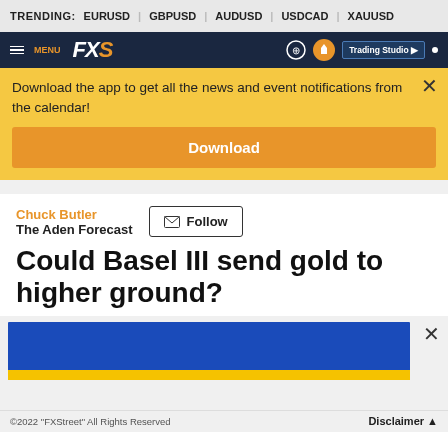TRENDING: EURUSD | GBPUSD | AUDUSD | USDCAD | XAUUSD
[Figure (screenshot): FXStreet website navigation bar with MENU, FXS logo, notification icons, and Trading Studio button]
Download the app to get all the news and event notifications from the calendar!
Download
Chuck Butler
The Aden Forecast
Follow
Could Basel III send gold to higher ground?
[Figure (infographic): Advertisement banner with blue and yellow color blocks]
©2022 "FXStreet" All Rights Reserved   Disclaimer ▲